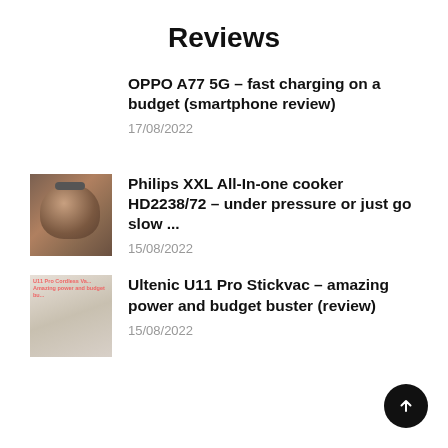Reviews
OPPO A77 5G – fast charging on a budget (smartphone review)
17/08/2022
Philips XXL All-In-one cooker HD2238/72 – under pressure or just go slow ...
15/08/2022
Ultenic U11 Pro Stickvac – amazing power and budget buster (review)
15/08/2022